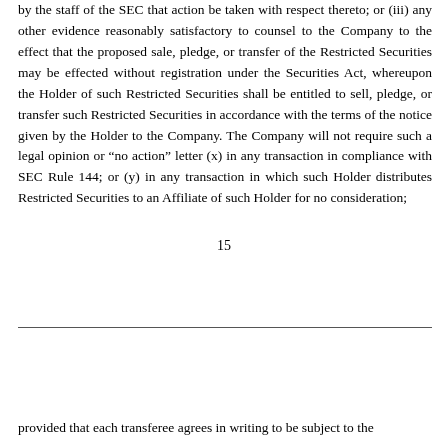by the staff of the SEC that action be taken with respect thereto; or (iii) any other evidence reasonably satisfactory to counsel to the Company to the effect that the proposed sale, pledge, or transfer of the Restricted Securities may be effected without registration under the Securities Act, whereupon the Holder of such Restricted Securities shall be entitled to sell, pledge, or transfer such Restricted Securities in accordance with the terms of the notice given by the Holder to the Company. The Company will not require such a legal opinion or “no action” letter (x) in any transaction in compliance with SEC Rule 144; or (y) in any transaction in which such Holder distributes Restricted Securities to an Affiliate of such Holder for no consideration;
15
provided that each transferee agrees in writing to be subject to the